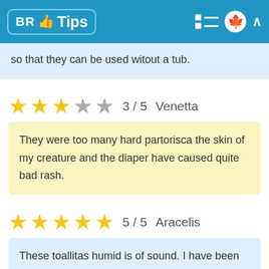BR Tips
so that they can be used witout a tub.
★★★☆☆ 3 / 5   Venetta
They were too many hard partorisca the skin of my creature and the diaper have caused quite bad rash.
★★★★★ 5 / 5   Aracelis
These toallitas humid is of sound. I have been